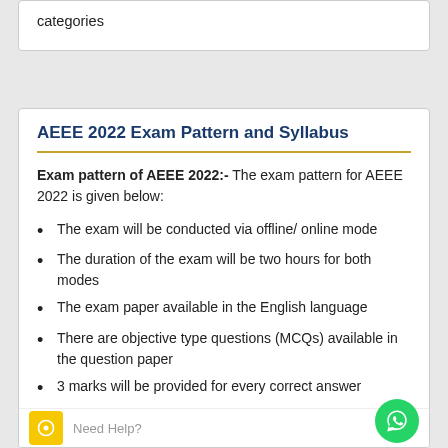categories
AEEE 2022 Exam Pattern and Syllabus
Exam pattern of AEEE 2022:- The exam pattern for AEEE 2022 is given below:
The exam will be conducted via offline/ online mode
The duration of the exam will be two hours for both modes
The exam paper available in the English language
There are objective type questions (MCQs) available in the question paper
3 marks will be provided for every correct answer